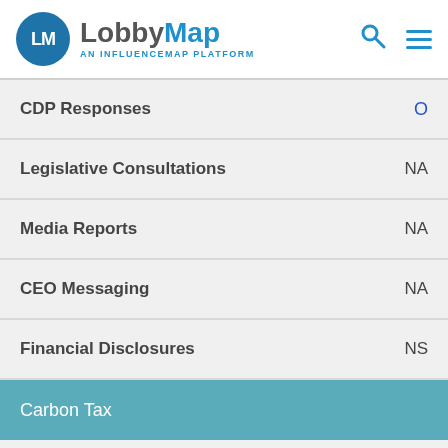LobbyMap — AN INFLUENCEMAP PLATFORM
CDP Responses   O
Legislative Consultations   NA
Media Reports   NA
CEO Messaging   NA
Financial Disclosures   NS
Carbon Tax
Main Web Site   NS
Social Media   NS